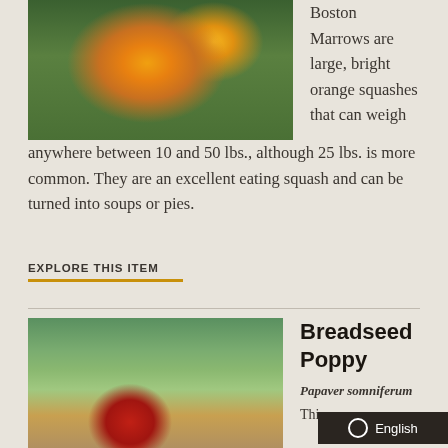[Figure (photo): Close-up photo of large orange bumpy Boston Marrow squash among green leaves and grass]
Boston Marrows are large, bright orange squashes that can weigh anywhere between 10 and 50 lbs., although 25 lbs. is more common. They are an excellent eating squash and can be turned into soups or pies.
EXPLORE THIS ITEM
[Figure (photo): Garden photo showing a red poppy flower in the foreground with a large garden bed in the background]
Breadseed Poppy
Papaver somniferum
Thi